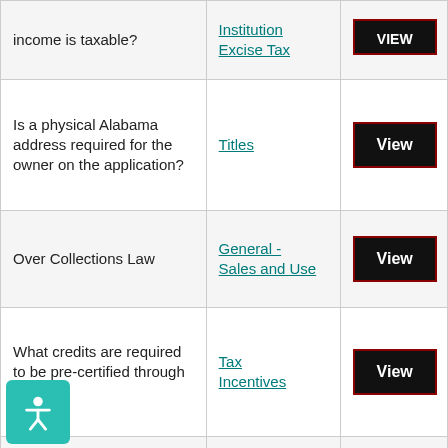| Question | Category | Action |
| --- | --- | --- |
| income is taxable? | Institution Excise Tax | View |
| Is a physical Alabama address required for the owner on the application? | Titles | View |
| Over Collections Law | General - Sales and Use | View |
| What credits are required to be pre-certified through MAT? | Tax Incentives | View |
| How do I apply for a lubricating Oil Permit? | Business and License | View |